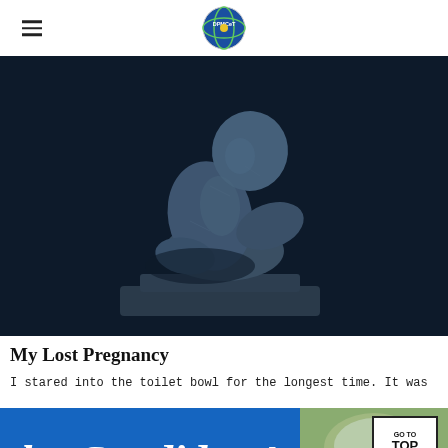DPMCeT logo and navigation
[Figure (photo): A stone sculpture of a crouching human figure with head bowed, set against a dark background.]
My Lost Pregnancy
I stared into the toilet bowl for the longest time. It was
[Figure (photo): Blue banner with white italic text reading 'the Candidate!' alongside a landscape photo, with a 'GO TO TOP' button overlay.]